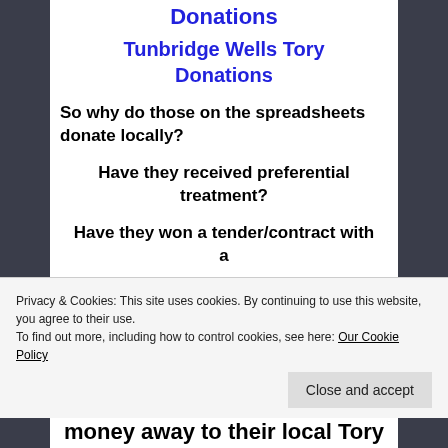Donations
Tunbridge Wells Tory Donations
So why do those on the spreadsheets donate locally?
Have they received preferential treatment?
Have they won a tender/contract with a
money away to their local Tory
Privacy & Cookies: This site uses cookies. By continuing to use this website, you agree to their use.
To find out more, including how to control cookies, see here: Our Cookie Policy
Close and accept